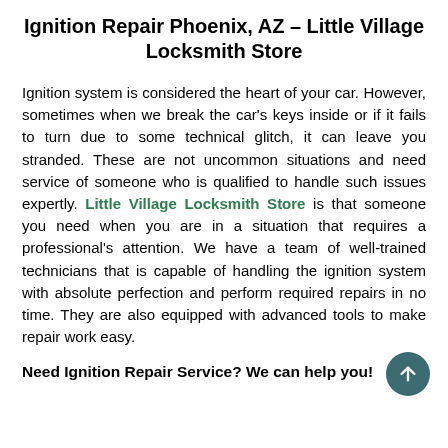Ignition Repair Phoenix, AZ – Little Village Locksmith Store
Ignition system is considered the heart of your car. However, sometimes when we break the car's keys inside or if it fails to turn due to some technical glitch, it can leave you stranded. These are not uncommon situations and need service of someone who is qualified to handle such issues expertly. Little Village Locksmith Store is that someone you need when you are in a situation that requires a professional's attention. We have a team of well-trained technicians that is capable of handling the ignition system with absolute perfection and perform required repairs in no time. They are also equipped with advanced tools to make repair work easy.
Need Ignition Repair Service? We can help you!